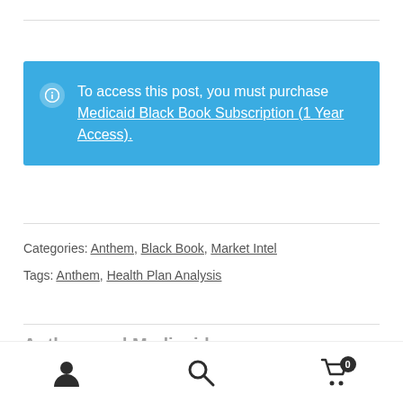To access this post, you must purchase Medicaid Black Book Subscription (1 Year Access).
Categories: Anthem, Black Book, Market Intel
Tags: Anthem, Health Plan Analysis
Navigation icons: user, search, cart (0)